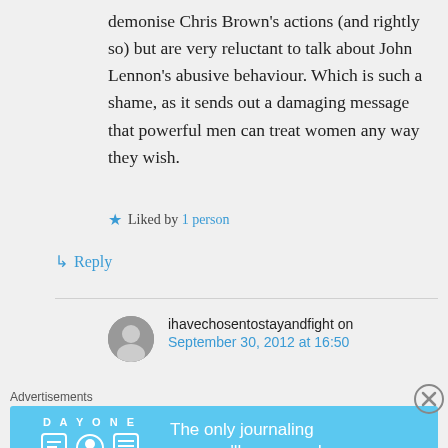demonise Chris Brown's actions (and rightly so) but are very reluctant to talk about John Lennon's abusive behaviour. Which is such a shame, as it sends out a damaging message that powerful men can treat women any way they wish.
★ Liked by 1 person
↳ Reply
ihavechosentostayandfight on September 30, 2012 at 16:50
Advertisements
[Figure (other): Day One journaling app advertisement banner with blue background, app icons, and text 'The only journaling app you'll ever need.']